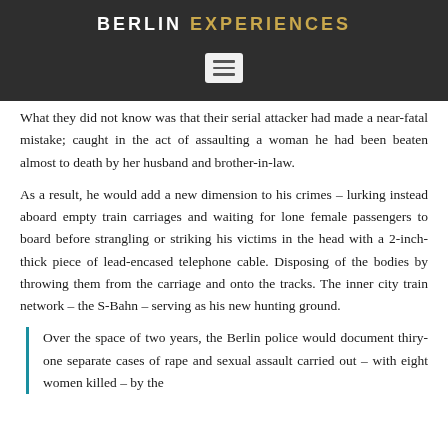BERLIN EXPERIENCES
[Figure (other): Menu/hamburger icon button with three horizontal lines on a light grey rounded rectangle background, displayed on a dark grey header bar.]
What they did not know was that their serial attacker had made a near-fatal mistake; caught in the act of assaulting a woman he had been beaten almost to death by her husband and brother-in-law.
As a result, he would add a new dimension to his crimes – lurking instead aboard empty train carriages and waiting for lone female passengers to board before strangling or striking his victims in the head with a 2-inch-thick piece of lead-encased telephone cable. Disposing of the bodies by throwing them from the carriage and onto the tracks. The inner city train network – the S-Bahn – serving as his new hunting ground.
Over the space of two years, the Berlin police would document thiry-one separate cases of rape and sexual assault carried out – with eight women killed – by the